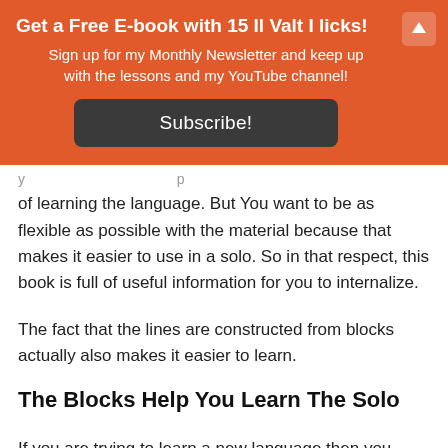Get a Free E-book with 15 Il Valt I licks!
Sign up for my Monthly Newsletter and keep up with the lessons and my YouTube channel!
Subscribe!
of learning the language. But You want to be as flexible as possible with the material because that makes it easier to use in a solo. So in that respect, this book is full of useful information for you to internalize.
The fact that the lines are constructed from blocks actually also makes it easier to learn.
The Blocks Help You Learn The Solo
If you are trying to learn a new language then you don't first try to memorize a whole story and then figure out what each word means. You use the words to help you learn the story,